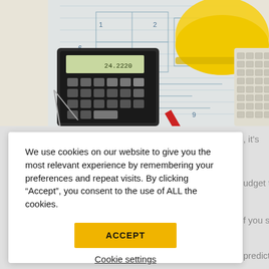[Figure (photo): Construction/engineering themed photo showing blueprints/architectural drawings spread on a table, with a calculator, drafting compass/dividers, a red pencil, a keyboard, and a yellow hard hat in the upper right corner.]
We use cookies on our website to give you the most relevant experience by remembering your preferences and repeat visits. By clicking “Accept”, you consent to the use of ALL the cookies.
ACCEPT
Cookie settings
, it's
udget to
f you set out
predict
and.
successful